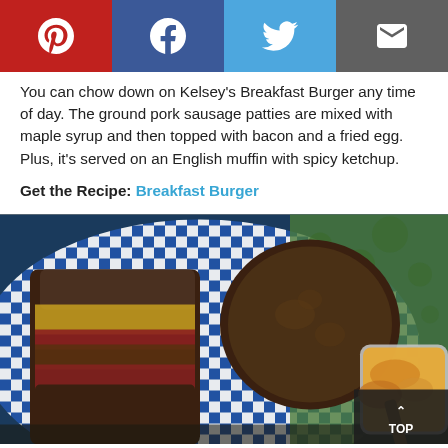[Figure (other): Social sharing bar with Pinterest, Facebook, Twitter, and Email buttons]
You can chow down on Kelsey's Breakfast Burger any time of day. The ground pork sausage patties are mixed with maple syrup and then topped with bacon and a fried egg. Plus, it's served on an English muffin with spicy ketchup.
Get the Recipe: Breakfast Burger
[Figure (photo): Overhead photo of a breakfast burger sandwich cut in half showing bacon, egg and meat patty on dark bread, served in a blue and white checkered basket liner, with a small jar of sauce with a wooden spoon on the right side]